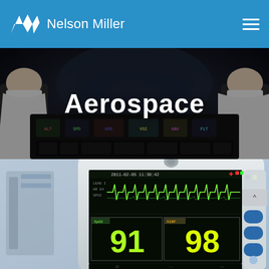Nelson Miller
[Figure (photo): Cockpit interior of an aircraft with instrument panels and two pilots visible at the sides, dark atmosphere]
Aerospace
[Figure (photo): Close-up of a medical patient monitor showing ECG waveform and numeric readouts of 91 and 98, with blue control buttons on the right side]